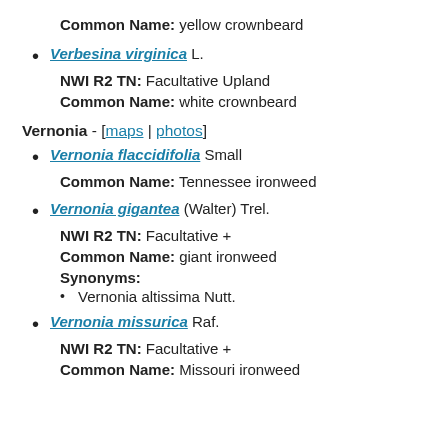Common Name: yellow crownbeard
Verbesina virginica L.
NWI R2 TN: Facultative Upland
Common Name: white crownbeard
Vernonia - [maps | photos]
Vernonia flaccidifolia Small
Common Name: Tennessee ironweed
Vernonia gigantea (Walter) Trel.
NWI R2 TN: Facultative +
Common Name: giant ironweed
Synonyms:
• Vernonia altissima Nutt.
Vernonia missurica Raf.
NWI R2 TN: Facultative +
Common Name: Missouri ironweed